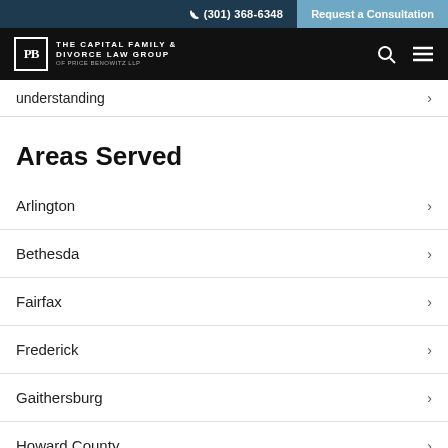(301) 368-6348 | Request a Consultation
The Capital Family & Divorce Law Group of Price Benowitz LLP
understanding
Areas Served
Arlington
Bethesda
Fairfax
Frederick
Gaithersburg
Howard County
Leesburg